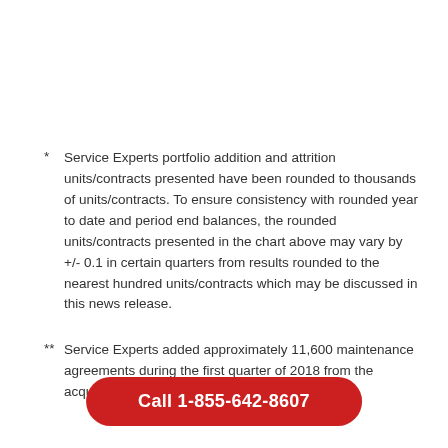* Service Experts portfolio addition and attrition units/contracts presented have been rounded to thousands of units/contracts. To ensure consistency with rounded year to date and period end balances, the rounded units/contracts presented in the chart above may vary by +/- 0.1 in certain quarters from results rounded to the nearest hundred units/contracts which may be discussed in this news release.
** Service Experts added approximately 11,600 maintenance agreements during the first quarter of 2018 from the acquisitions of CS Newco, LLC and Finch Newco,
Call 1-855-642-8607